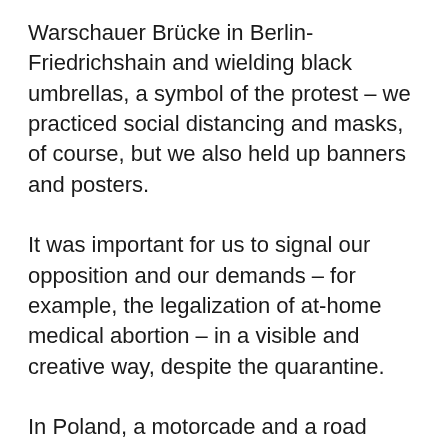Warschauer Brücke in Berlin-Friedrichshain and wielding black umbrellas, a symbol of the protest – we practiced social distancing and masks, of course, but we also held up banners and posters.
It was important for us to signal our opposition and our demands – for example, the legalization of at-home medical abortion – in a visible and creative way, despite the quarantine.
In Poland, a motorcade and a road blockade were formed in the [ACCESSIBILITY] city center. Women also protested in